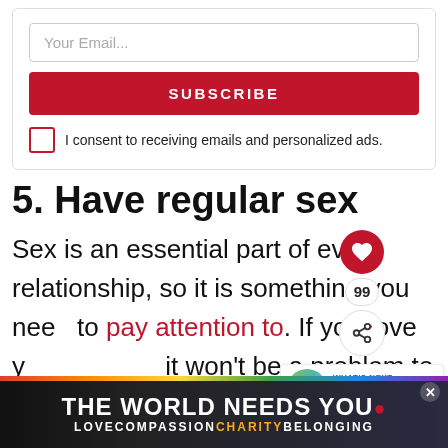[Figure (screenshot): Email subscription box with input field, red SUBSCRIBE button, and consent checkbox]
5. Have regular sex
Sex is an essential part of every relationship, so it is something you need to pay attention to. If you love y... it won't be a problem to sleep with him.
[Figure (infographic): Advertisement banner: THE WORLD NEEDS YOU — LOVE COMPASSION CHARITY BELONGING with rainbow colors]